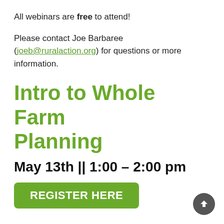All webinars are free to attend!
Please contact Joe Barbaree (joeb@ruralaction.org) for questions or more information.
Intro to Whole Farm Planning
May 13th || 1:00 – 2:00 pm
REGISTER HERE
Whole Farm Planning is a holistic approach to farm management that helps farmers inventory their natural assets, develop production goals,